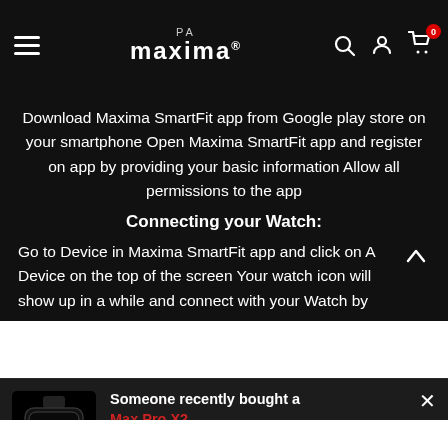PA Maxima® — navigation bar with hamburger menu, logo, search, user, cart (0)
Download Maxima SmartFit app from Google play store on your smartphone Open Maxima SmartFit app and register on app by providing your basic information Allow all permissions to the app
Connecting your Watch:
Go to Device in Maxima SmartFit app and click on A Device on the top of the screen Your watch icon will show up in a while and connect with your Watch by
Someone recently bought a Max Pro X2 20 minutes minutes ago, from Gurgaon, Haryana